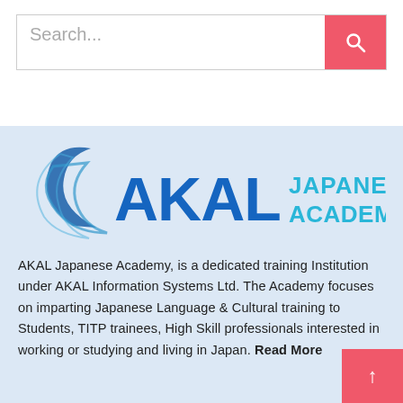[Figure (screenshot): Search bar with text input placeholder 'Search...' and a red search button with magnifying glass icon]
[Figure (logo): AKAL Japanese Academy logo on light blue background with stylized swoosh arc in dark blue, 'AKAL' in blue gradient text, and 'JAPANESE ACADEMY' in cyan text]
AKAL Japanese Academy, is a dedicated training Institution under AKAL Information Systems Ltd. The Academy focuses on imparting Japanese Language & Cultural training to Students, TITP trainees, High Skill professionals interested in working or studying and living in Japan. Read More